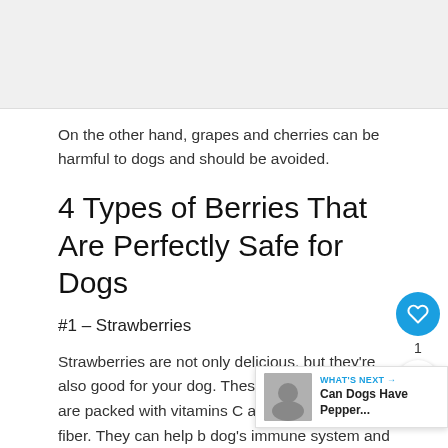[Figure (photo): Top image placeholder area (partially visible, light gray background)]
On the other hand, grapes and cherries can be harmful to dogs and should be avoided.
4 Types of Berries That Are Perfectly Safe for Dogs
#1 – Strawberries
Strawberries are not only delicious, but they're also good for your dog. These little red berries are packed with vitamins C and K as well as fiber. They can help b dog's immune system and keep its digestive